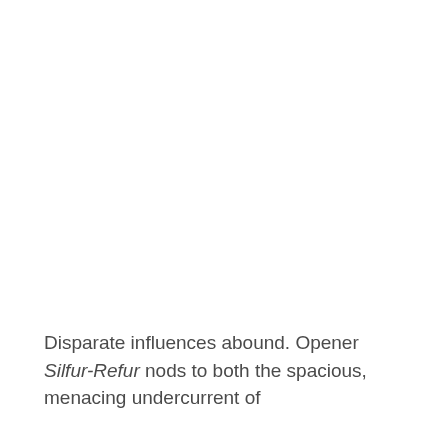Disparate influences abound. Opener Silfur-Refur nods to both the spacious, menacing undercurrent of